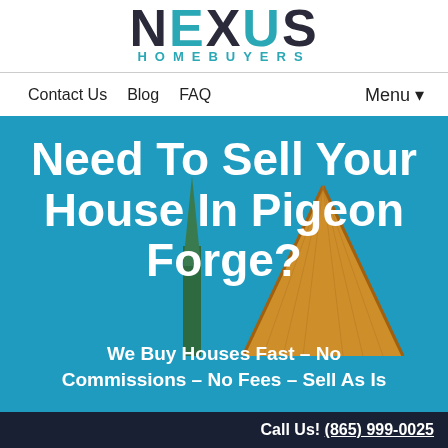[Figure (logo): Nexus Homebuyers logo — large bold dark text 'NEXUS' with 'HOMEBUYERS' in teal spaced capitals beneath]
Contact Us  Blog  FAQ                Menu ▾
Need To Sell Your House In Pigeon Forge?
We Buy Houses Fast – No Commissions – No Fees – Sell As Is
Get your 100% FREE cash offer today
Call Us! (865) 999-0025